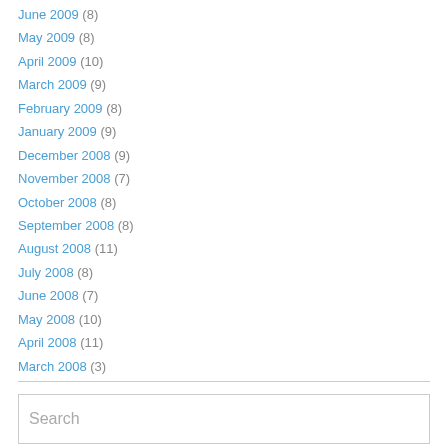June 2009 (8)
May 2009 (8)
April 2009 (10)
March 2009 (9)
February 2009 (8)
January 2009 (9)
December 2008 (9)
November 2008 (7)
October 2008 (8)
September 2008 (8)
August 2008 (11)
July 2008 (8)
June 2008 (7)
May 2008 (10)
April 2008 (11)
March 2008 (3)
Search